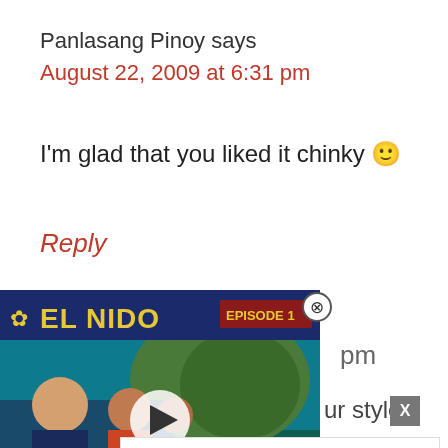Panlasang Pinoy says
August 22, 2009 at 6:31 pm
I'm glad that you liked it chinky 🙂
Reply
[Figure (screenshot): Video thumbnail overlay showing 'EL NIDO EPISODE 1' with people in front of a tropical island scene, with a play button. A close (X) button appears at top right of the video.]
pm
ur style.
X
Repl
[Figure (screenshot): Advertisement banner: Sense Forth logo, text 'Make an impact with insights.' and an Open button.]